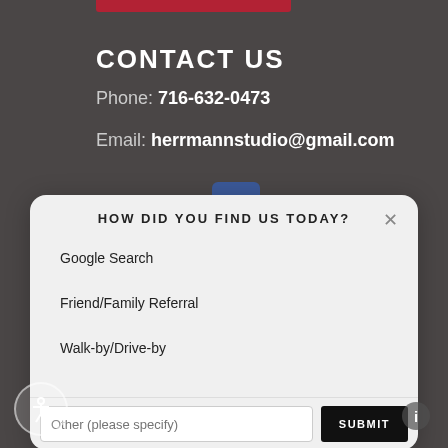[Figure (other): Red decorative bar at top of dark background section]
CONTACT US
Phone: 716-632-0473
Email: herrmannstudio@gmail.com
[Figure (logo): Facebook icon button (blue square with white f)]
HOW DID YOU FIND US TODAY?
Google Search
Friend/Family Referral
Walk-by/Drive-by
Other (please specify)
SUBMIT